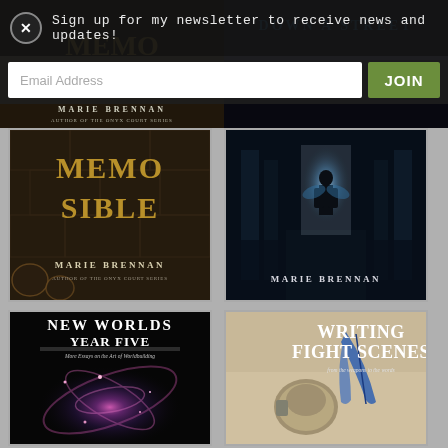Sign up for my newsletter to receive news and updates!
Email Address
JOIN
[Figure (photo): Book cover - partially visible, dark stone texture with golden letters 'MEMO... SIBLE...' by MARIE BRENNAN, Author of the Onyx Court Series]
[Figure (photo): Book cover - figure silhouetted in glowing doorway of a columned hall, MARIE BRENNAN at bottom]
[Figure (photo): Book cover - NEW WORLDS YEAR FIVE: More Essays on the Art of Worldbuilding, with fractal galaxy image]
[Figure (photo): Book cover - WRITING FIGHT SCENES: from the weapons to the words, with quill and equipment photo]